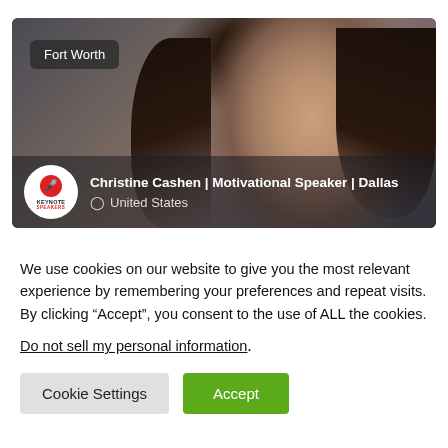[Figure (photo): Profile photo of Christine Cashen, a woman with dark hair, against a gray studio background. A location badge reading 'Fort Worth' appears top-left. Bottom bar shows a Keynote Speakers logo and the name Christine Cashen | Motivational Speaker | Dallas with United States location.]
We use cookies on our website to give you the most relevant experience by remembering your preferences and repeat visits. By clicking “Accept”, you consent to the use of ALL the cookies.
Do not sell my personal information.
Cookie Settings
Accept